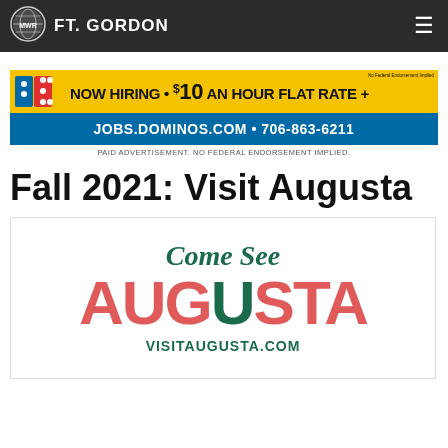FT. GORDON
[Figure (illustration): Domino's Pizza hiring advertisement banner: NOW HIRING • $10 AN HOUR FLAT RATE + JOBS.DOMINOS.COM • 706-863-6211]
PAID ADVERTISEMENT. NO FEDERAL ENDORSEMENT IMPLIED.
Fall 2021: Visit Augusta
[Figure (logo): Visit Augusta logo with Come See Augusta in script and large AUGUSTA text with VISITAUGUSTA.COM]